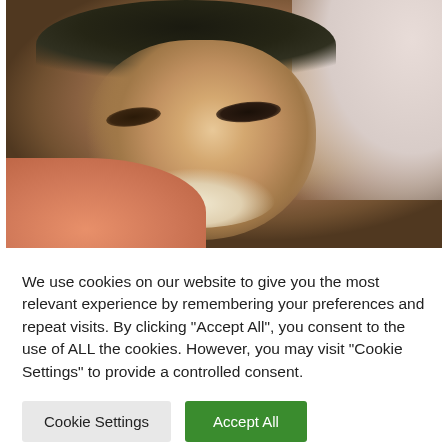[Figure (photo): Close-up photo of a young East Asian man smiling, with short dark hair, wearing a peach/orange garment, against a light pinkish-gray background.]
We use cookies on our website to give you the most relevant experience by remembering your preferences and repeat visits. By clicking "Accept All", you consent to the use of ALL the cookies. However, you may visit "Cookie Settings" to provide a controlled consent.